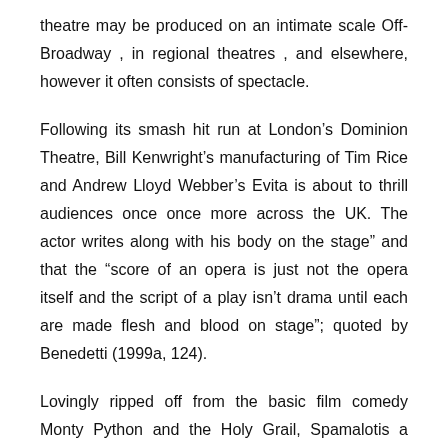theatre may be produced on an intimate scale Off-Broadway , in regional theatres , and elsewhere, however it often consists of spectacle.
Following its smash hit run at London's Dominion Theatre, Bill Kenwright's manufacturing of Tim Rice and Andrew Lloyd Webber's Evita is about to thrill audiences once once more across the UK. The actor writes along with his body on the stage" and that the "score of an opera is just not the opera itself and the script of a play isn't drama until each are made flesh and blood on stage"; quoted by Benedetti (1999a, 124).
Lovingly ripped off from the basic film comedy Monty Python and the Holy Grail, Spamalotis a sort-of latest musical with a book by Eric Idle and an entirely new score